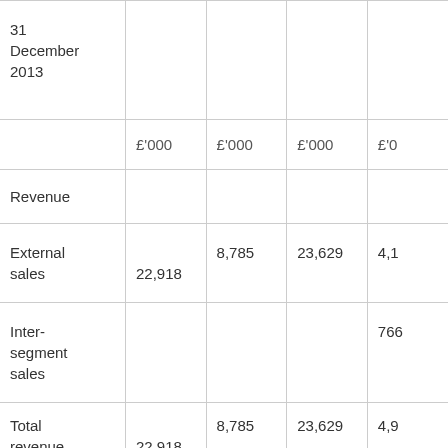|  | £'000 | £'000 | £'000 | £'0... |
| --- | --- | --- | --- | --- |
| 31 December 2013 |  |  |  |  |
|  | £'000 | £'000 | £'000 | £'0 |
| Revenue |  |  |  |  |
| External sales | 22,918 | 8,785 | 23,629 | 4,1... |
| Inter-segment sales |  |  |  | 766... |
| Total revenue | 22,918 | 8,785 | 23,629 | 4,9... |